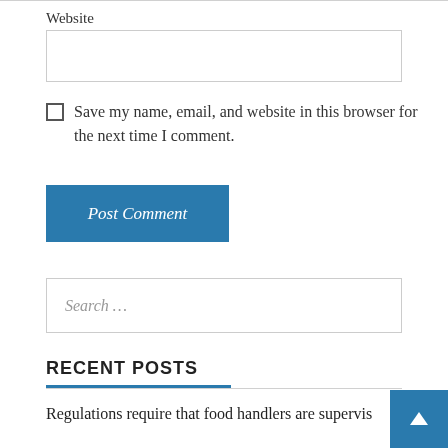Website
Save my name, email, and website in this browser for the next time I comment.
Post Comment
Search ...
RECENT POSTS
Regulations require that food handlers are supervised states that a food processing facility